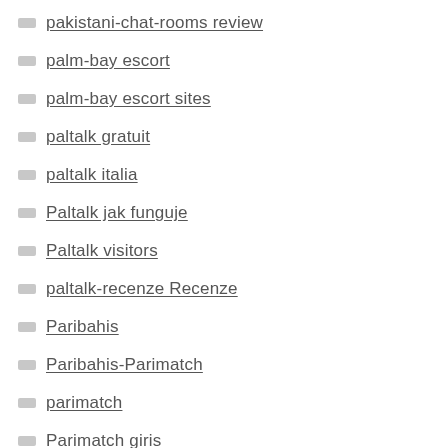pakistani-chat-rooms review
palm-bay escort
palm-bay escort sites
paltalk gratuit
paltalk italia
Paltalk jak funguje
Paltalk visitors
paltalk-recenze Recenze
Paribahis
Paribahis-Parimatch
parimatch
Parimatch giris